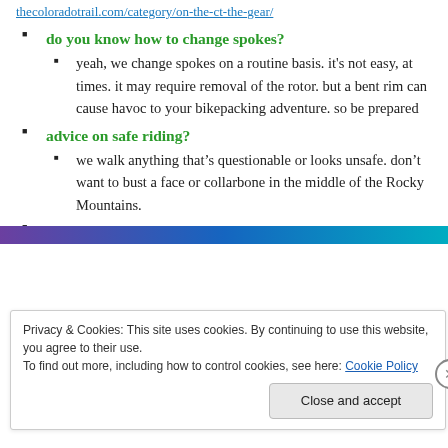thecoloradotrail.com/category/on-the-ct-the-gear/
do you know how to change spokes?
yeah, we change spokes on a routine basis. it's not easy, at times. it may require removal of the rotor. but a bent rim can cause havoc to your bikepacking adventure. so be prepared
advice on safe riding?
we walk anything that’s questionable or looks unsafe. don’t want to bust a face or collarbone in the middle of the Rocky Mountains.
why repackage vacuum packed freeze dried food?
Privacy & Cookies: This site uses cookies. By continuing to use this website, you agree to their use.
To find out more, including how to control cookies, see here: Cookie Policy
Close and accept